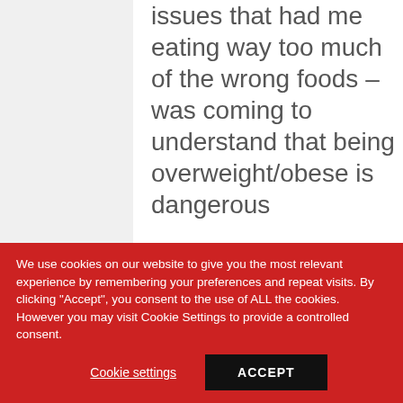issues that had me eating way too much of the wrong foods – was coming to understand that being overweight/obese is dangerous
We use cookies on our website to give you the most relevant experience by remembering your preferences and repeat visits. By clicking "Accept", you consent to the use of ALL the cookies. However you may visit Cookie Settings to provide a controlled consent.
Cookie settings
ACCEPT